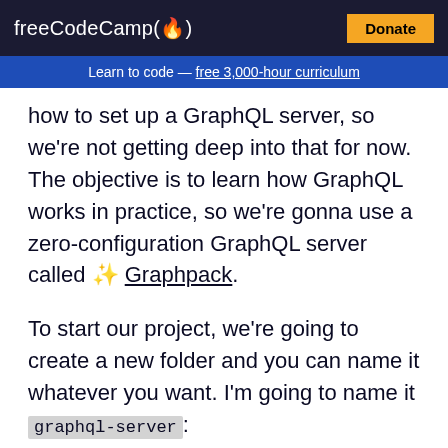freeCodeCamp(🔥)  Donate
Learn to code — free 3,000-hour curriculum
how to set up a GraphQL server, so we're not getting deep into that for now. The objective is to learn how GraphQL works in practice, so we're gonna use a zero-configuration GraphQL server called 🎉 Graphpack.
To start our project, we're going to create a new folder and you can name it whatever you want. I'm going to name it graphql-server:
Open your terminal and type: